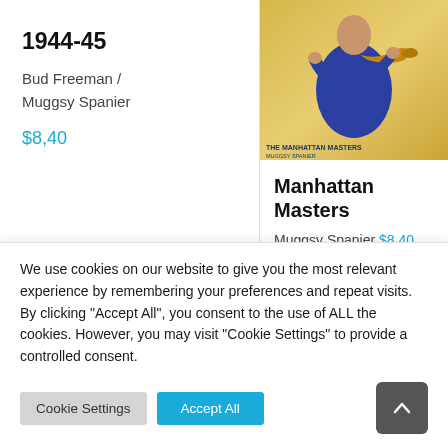1944-45
Bud Freeman / Muggsy Spanier
$8,40
[Figure (photo): Album cover photo for Manhattan Masters showing a jazz musician playing trumpet, wearing a blue suit, with yellow/gold background. Text reads 'The Manhattan Masters' on the cover.]
Manhattan Masters
Muggsy Spanier $8,40
We use cookies on our website to give you the most relevant experience by remembering your preferences and repeat visits. By clicking "Accept All", you consent to the use of ALL the cookies. However, you may visit "Cookie Settings" to provide a controlled consent.
Cookie Settings
Accept All